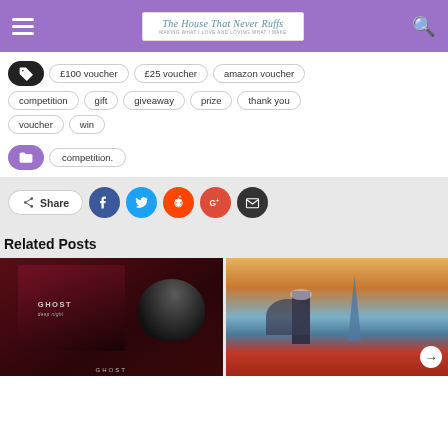The House That Never Ruffs — navigation header with hamburger menu, logo, and search icon
Tags: £100 voucher, £25 voucher, amazon voucher, competition, gift, giveaway, prize, thank you, voucher, win
Category: competition.
Share (Facebook, Twitter, Reddit, Google+, Email)
Related Posts
[Figure (photo): Ghost perfume bottle product photo]
[Figure (photo): London cityscape illustration with Big Ben, St Paul's Cathedral, and Shard]